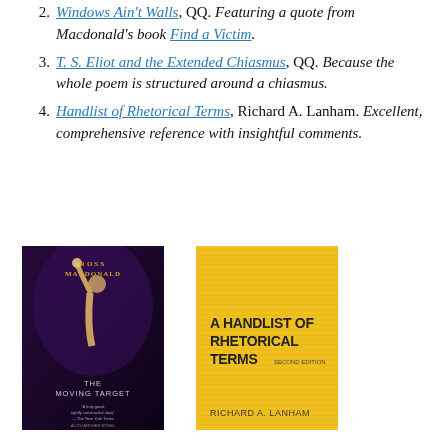2. Windows Ain't Walls, QQ. Featuring a quote from Macdonald's book Find a Victim.
3. T. S. Eliot and the Extended Chiasmus, QQ. Because the whole poem is structured around a chiasmus.
4. Handlist of Rhetorical Terms, Richard A. Lanham. Excellent, comprehensive reference with insightful comments.
[Figure (photo): Book cover of Ross Macdonald 'The Moving Target', dark purple/black cover with stylized figure]
[Figure (photo): Book cover of 'A Handlist of Rhetorical Terms, Second Edition' by Richard A. Lanham, yellow cover with horizontal lines]